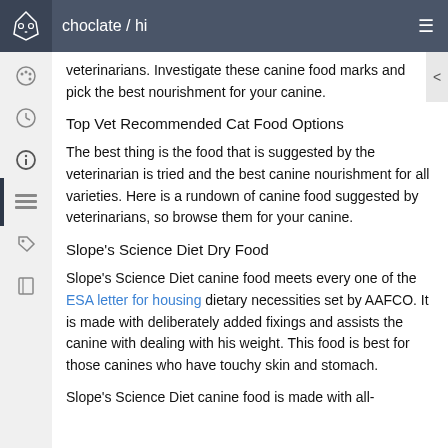choclate / hi
veterinarians. Investigate these canine food marks and pick the best nourishment for your canine.
Top Vet Recommended Cat Food Options
The best thing is the food that is suggested by the veterinarian is tried and the best canine nourishment for all varieties. Here is a rundown of canine food suggested by veterinarians, so browse them for your canine.
Slope's Science Diet Dry Food
Slope's Science Diet canine food meets every one of the ESA letter for housing dietary necessities set by AAFCO. It is made with deliberately added fixings and assists the canine with dealing with his weight. This food is best for those canines who have touchy skin and stomach.
Slope's Science Diet canine food is made with all-